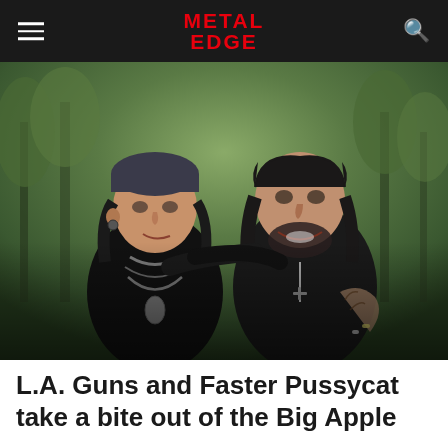METAL EDGE
[Figure (photo): Two men posing together with arms around each other. Left man wears a dark beanie, long dark hair, chains and pendants necklaces, dark jacket. Right man has dark wavy hair, beard, tattoos on hand/arm, dark v-neck shirt with a cross pendant necklace. Background shows blurred green trees. Both are smiling.]
L.A. Guns and Faster Pussycat take a bite out of the Big Apple